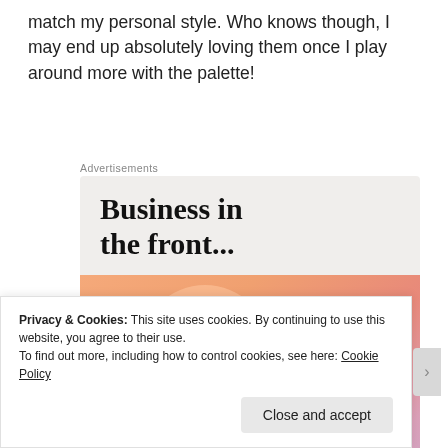match my personal style. Who knows though, I may end up absolutely loving them once I play around more with the palette!
Advertisements
[Figure (illustration): Advertisement banner showing two sections: top light gray area with bold serif text 'Business in the front...' and bottom colorful gradient area with peach/pink/lavender blob shapes and bold serif text 'WordPress in the back.']
Privacy & Cookies: This site uses cookies. By continuing to use this website, you agree to their use. To find out more, including how to control cookies, see here: Cookie Policy
Close and accept